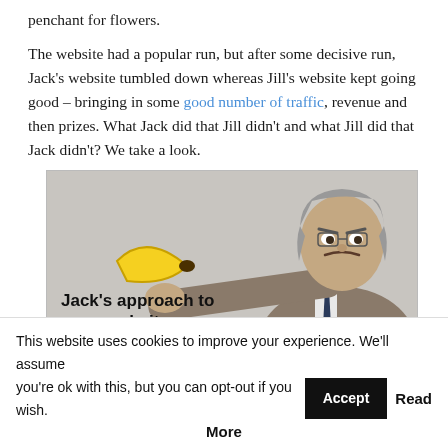penchant for flowers.
The website had a popular run, but after some decisive run, Jack's website tumbled down whereas Jill's website kept going good – bringing in some good number of traffic, revenue and then prizes. What Jack did that Jill didn't and what Jill did that Jack didn't? We take a look.
[Figure (photo): A man in a suit with grey hair pointing a banana like a gun toward the camera, on a grey background. Text overlay reads 'Jack's approach to website'.]
This website uses cookies to improve your experience. We'll assume you're ok with this, but you can opt-out if you wish. Accept Read More